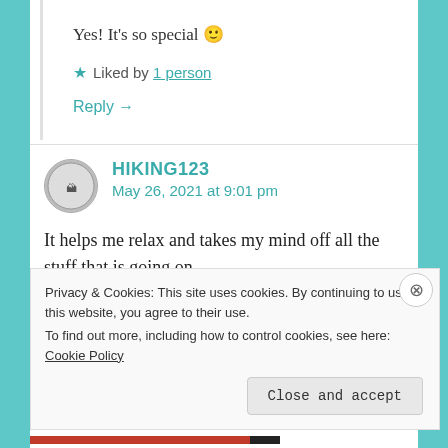Yes! It's so special 🙂
★ Liked by 1 person
Reply →
HIKING123
May 26, 2021 at 9:01 pm
It helps me relax and takes my mind off all the stuff that is going on.
Privacy & Cookies: This site uses cookies. By continuing to use this website, you agree to their use.
To find out more, including how to control cookies, see here: Cookie Policy
Close and accept